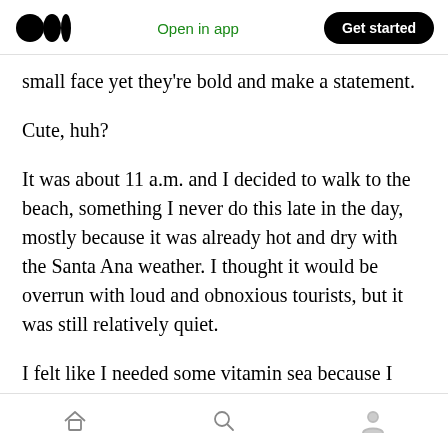Medium logo | Open in app | Get started
small face yet they're bold and make a statement.
Cute, huh?
It was about 11 a.m. and I decided to walk to the beach, something I never do this late in the day, mostly because it was already hot and dry with the Santa Ana weather. I thought it would be overrun with loud and obnoxious tourists, but it was still relatively quiet.
I felt like I needed some vitamin sea because I was so grateful for a good test result. Every year I
Home | Search | Profile